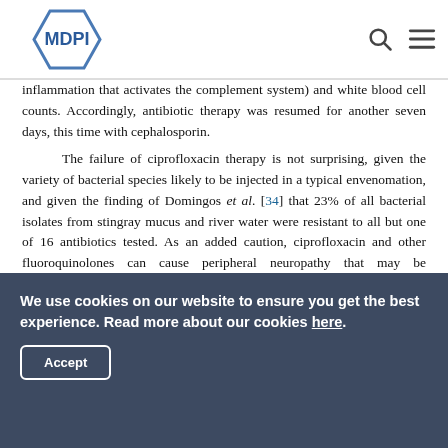MDPI
inflammation that activates the complement system) and white blood cell counts. Accordingly, antibiotic therapy was resumed for another seven days, this time with cephalosporin.
The failure of ciprofloxacin therapy is not surprising, given the variety of bacterial species likely to be injected in a typical envenomation, and given the finding of Domingos et al. [34] that 23% of all bacterial isolates from stingray mucus and river water were resistant to all but one of 16 antibiotics tested. As an added caution, ciprofloxacin and other fluoroquinolones can cause peripheral neuropathy that may be irreversible, such as weakness, burning pain, tingling, or numbness [67,68,69]. In rare cases, such symptoms, should they occur, might be
We use cookies on our website to ensure you get the best experience. Read more about our cookies here.
Accept